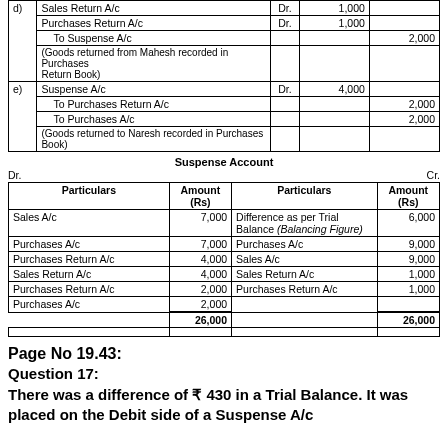|  | Particulars | Dr. | Amount (Rs) | Amount (Rs) |
| --- | --- | --- | --- | --- |
| d) | Sales Return A/c | Dr. | 1,000 |  |
|  | Purchases Return A/c | Dr. | 1,000 |  |
|  | To Suspense A/c |  |  | 2,000 |
|  | (Goods returned from Mahesh recorded in Purchases Return Book) |  |  |  |
| e) | Suspense A/c | Dr. | 4,000 |  |
|  | To Purchases Return A/c |  |  | 2,000 |
|  | To Purchases A/c |  |  | 2,000 |
|  | (Goods returned to Naresh recorded in Purchases Book) |  |  |  |
Suspense Account
| Particulars | Amount (Rs) | Particulars | Amount (Rs) |
| --- | --- | --- | --- |
| Sales A/c | 7,000 | Difference as per Trial Balance (Balancing Figure) | 6,000 |
| Purchases A/c | 7,000 | Purchases A/c | 9,000 |
| Purchases Return A/c | 4,000 | Sales A/c | 9,000 |
| Sales Return A/c | 4,000 | Sales Return A/c | 1,000 |
| Purchases Return A/c | 2,000 | Purchases Return A/c | 1,000 |
| Purchases A/c | 2,000 |  |  |
|  | 26,000 |  | 26,000 |
Page No 19.43:
Question 17:
There was a difference of ₹ 430 in a Trial Balance. It was placed on the Debit side of a Suspense A/c